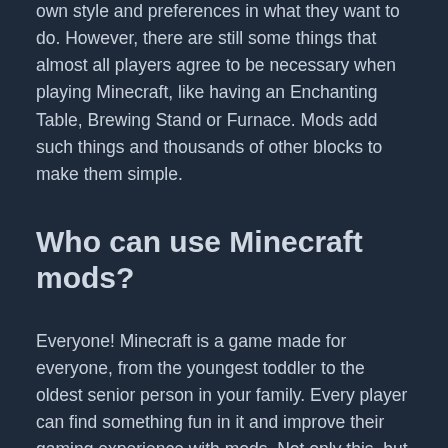own style and preferences in what they want to do. However, there are still some things that almost all players agree to be necessary when playing Minecraft, like having an Enchanting Table, Brewing Stand or Furnace. Mods add such things and thousands of other blocks to make them simple.
Who can use Minecraft mods?
Everyone! Minecraft is a game made for everyone, from the youngest toddler to the oldest senior person in your family. Every player can find something fun in it and improve their gaming experience with mods. Not only this, but if you're still new to Minecraft, mods can be beneficial for learning the game.
Minecraft players use mods in different ways; some prefer to use them just to search for new mobs and items, while other players focus on using only one type of mod in their